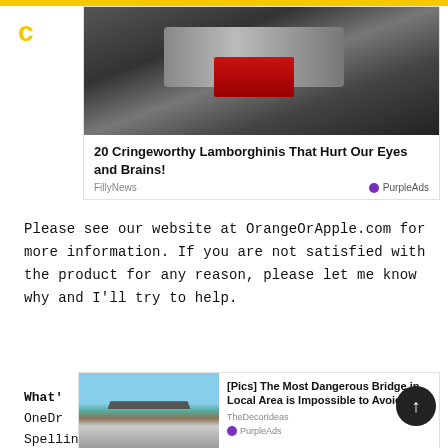[Figure (photo): Lamborghini engine/chassis advertisement photo — dark mechanical components, red wiring visible]
20 Cringeworthy Lamborghinis That Hurt Our Eyes and Brains!
FillyNews
PurpleAds
Please see our website at OrangeOrApple.com for more information. If you are not satisfied with the product for any reason, please let me know why and I'll try to help.
[Figure (photo): Dangerous steep bridge with cars — advertisement photo]
[Pics] The Most Dangerous Bridge in Local Area is Impossible to Avoid
TheDecorIdeas
PurpleAds
What'
OneDr
Spellin